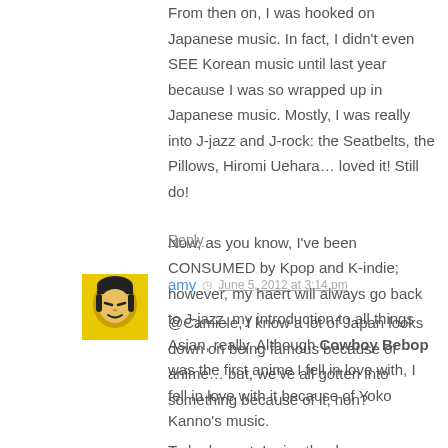From then on, I was hooked on Japanese music. In fact, I didn't even SEE Korean music until last year because I was so wrapped up in Japanese music. Mostly, I was really into J-jazz and J-rock: the Seatbelts, the Pillows, Hiromi Uehara… loved it! Still do!

Now, as you know, I've been CONSUMED by Kpop and K-indie; however, my haert will always go back to J-jazz, my introduction to all things Asian, really. Although Cowboy Bebop was the first anime I fell in love with, I fell in love with it because of Yoko Kanno's music.
Reply
[Figure (photo): Small square avatar image of user 'amy', yellow background with illustrated face]
amy  ◷  June 5, 2012 at 3:14 pm
@Camiele, I know a lot of Japan looks down on being famous because of anime… but, we've all gotten into something because of it, non?

To be honest, I miss the days you weren't Konsumed. xD